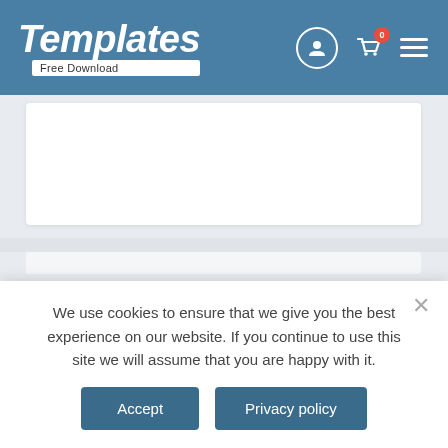Templates Free Download
Related Products
Check our Full Range of Professional
We use cookies to ensure that we give you the best experience on our website. If you continue to use this site we will assume that you are happy with it.
Accept
Privacy policy